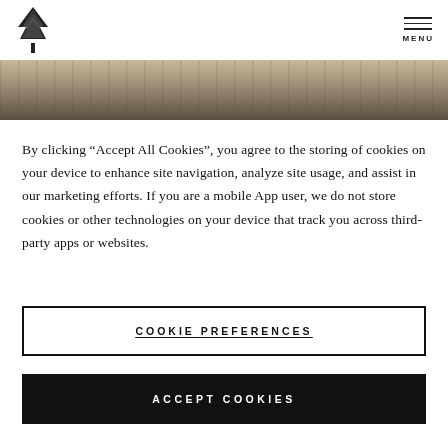Logo and MENU navigation header
[Figure (photo): Aerial or elevated view of an outdoor area with tables and trees, shown as a narrow horizontal banner image]
By clicking “Accept All Cookies”, you agree to the storing of cookies on your device to enhance site navigation, analyze site usage, and assist in our marketing efforts. If you are a mobile App user, we do not store cookies or other technologies on your device that track you across third-party apps or websites.
COOKIE PREFERENCES
ACCEPT COOKIES